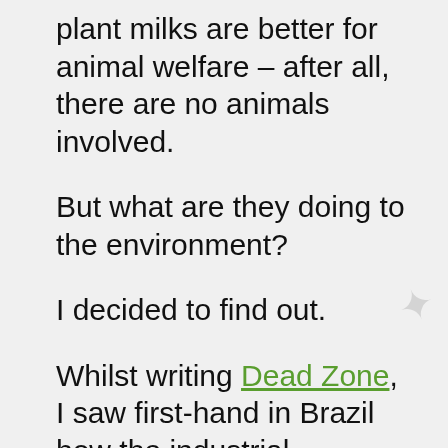plant milks are better for animal welfare – after all, there are no animals involved.
But what are they doing to the environment?
I decided to find out.
Whilst writing Dead Zone, I saw first-hand in Brazil how the industrial production of soya is expanding at the rate of hundreds of thousands of hectares every year, wiping out whole ecosystems and driving iconic species like